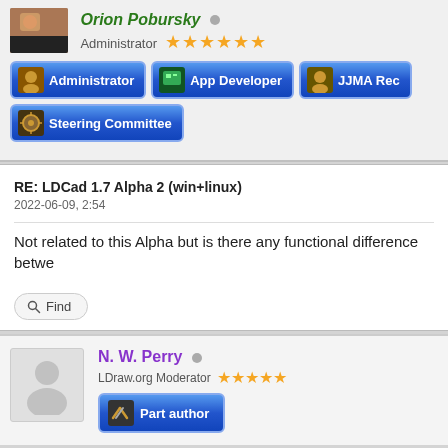[Figure (photo): Small avatar thumbnail image of a person/character]
Orion Pobursky
Administrator ★★★★★★
[Figure (infographic): Administrator badge button (blue gradient)]
[Figure (infographic): App Developer badge button (blue gradient)]
[Figure (infographic): JJMA Rec... badge button (blue gradient, partially visible)]
[Figure (infographic): Steering Committee badge button (blue gradient)]
RE: LDCad 1.7 Alpha 2 (win+linux)
2022-06-09, 2:54
Not related to this Alpha but is there any functional difference betwe
[Figure (infographic): Find button with magnifying glass icon]
[Figure (photo): Person silhouette avatar placeholder for N. W. Perry]
N. W. Perry
LDraw.org Moderator ★★★★★
[Figure (infographic): Part author badge button (blue gradient with tools icon)]